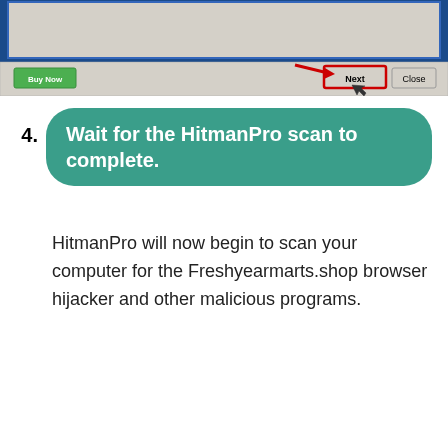[Figure (screenshot): Screenshot of HitmanPro application window showing Buy Now, Next, and Close buttons at the bottom. The Next button is highlighted with a red rectangle border and a red arrow pointing to it.]
4. Wait for the HitmanPro scan to complete.
HitmanPro will now begin to scan your computer for the Freshyearmarts.shop browser hijacker and other malicious programs.